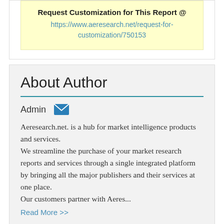Request Customization for This Report @
https://www.aeresearch.net/request-for-customization/750153
About Author
Admin
Aeresearch.net. is a hub for market intelligence products and services.
We streamline the purchase of your market research reports and services through a single integrated platform by bringing all the major publishers and their services at one place.
Our customers partner with Aeres...
Read More >>